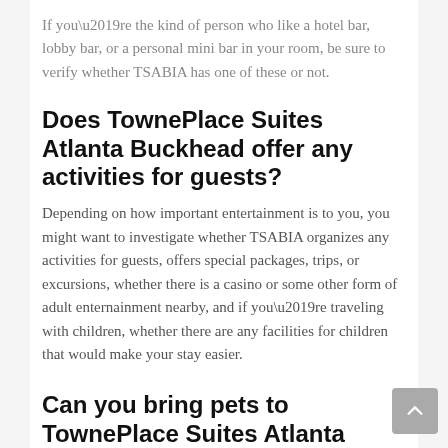If you’re the kind of person who like a hotel bar, lobby bar, or a personal mini bar in your room, be sure to verify whether TSABIA has one of these or not.
Does TownePlace Suites Atlanta Buckhead offer any activities for guests?
Depending on how important entertainment is to you, you might want to investigate whether TSABIA organizes any activities for guests, offers special packages, trips, or excursions, whether there is a casino or some other form of adult enternainment nearby, and if you’re traveling with children, whether there are any facilities for children that would make your stay easier.
Can you bring pets to TownePlace Suites Atlanta Buckhead?